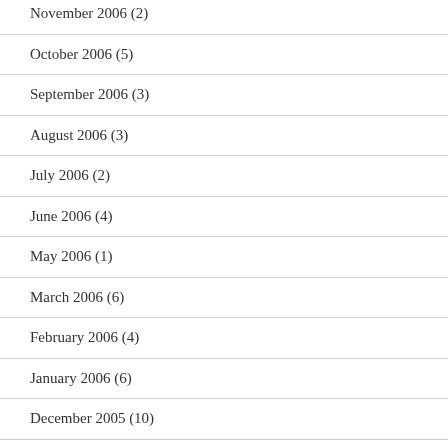November 2006 (2)
October 2006 (5)
September 2006 (3)
August 2006 (3)
July 2006 (2)
June 2006 (4)
May 2006 (1)
March 2006 (6)
February 2006 (4)
January 2006 (6)
December 2005 (10)
November 2005 (5)